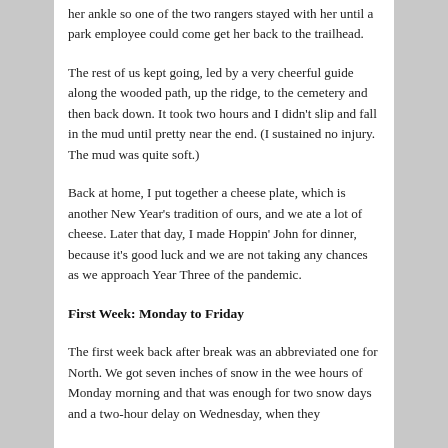her ankle so one of the two rangers stayed with her until a park employee could come get her back to the trailhead.
The rest of us kept going, led by a very cheerful guide along the wooded path, up the ridge, to the cemetery and then back down. It took two hours and I didn't slip and fall in the mud until pretty near the end. (I sustained no injury. The mud was quite soft.)
Back at home, I put together a cheese plate, which is another New Year's tradition of ours, and we ate a lot of cheese. Later that day, I made Hoppin' John for dinner, because it's good luck and we are not taking any chances as we approach Year Three of the pandemic.
First Week: Monday to Friday
The first week back after break was an abbreviated one for North. We got seven inches of snow in the wee hours of Monday morning and that was enough for two snow days and a two-hour delay on Wednesday, when they